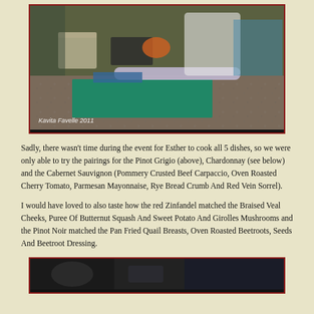[Figure (photo): Kitchen scene with a person in white behind a counter with a green cutting board and rolling pin. Watermark reads 'Kavita Favelle 2011'.]
Sadly, there wasn't time during the event for Esther to cook all 5 dishes, so we were only able to try the pairings for the Pinot Grigio (above), Chardonnay (see below) and the Cabernet Sauvignon (Pommery Crusted Beef Carpaccio, Oven Roasted Cherry Tomato, Parmesan Mayonnaise, Rye Bread Crumb And Red Vein Sorrel).
I would have loved to also taste how the red Zinfandel matched the Braised Veal Cheeks, Puree Of Butternut Squash And Sweet Potato And Girolles Mushrooms and the Pinot Noir matched the Pan Fried Quail Breasts, Oven Roasted Beetroots, Seeds And Beetroot Dressing.
[Figure (photo): Partial view of another kitchen/food photo at the bottom of the page.]